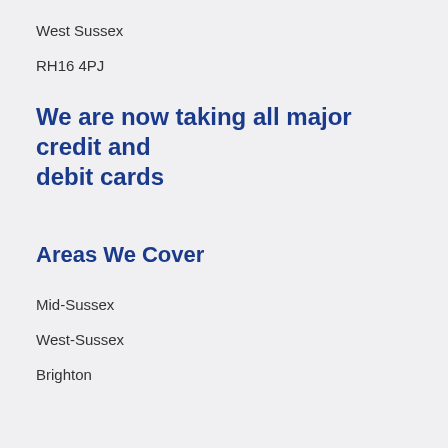West Sussex
RH16 4PJ
We are now taking all major credit and debit cards
Areas We Cover
Mid-Sussex
West-Sussex
Brighton